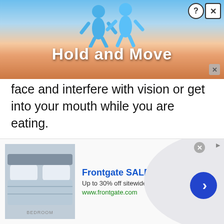[Figure (screenshot): Top advertisement banner with blue gradient background, two blue cartoon figures, title 'Hold and Move', close buttons (? and X) in top right corner, and small x close button in bottom right]
face and interfere with vision or get into your mouth while you are eating.
This article discusses why wearing this type of hat makes sense for many people and how they should wear it correctly if they choose to purchase one. A video at the end of this article shows exactly how to tie a durag for dreads and wear it to keep your hair in place.
[Figure (screenshot): Bottom advertisement banner for Frontgate SALES. Shows bedroom image on left, 'Frontgate SALES' in bold blue text, 'Up to 30% off sitewide from August 23-25', 'www.frontgate.com' in green, blue circular chevron arrow button on right, close X button at top.]